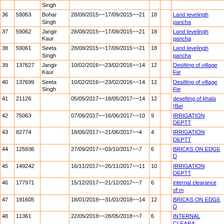| # | ID | Name | Dates | D1 | D2 | Description |
| --- | --- | --- | --- | --- | --- | --- |
|  |  | Singh |  |  |  |  |
| 36 | 59063 | Bohar Singh | 28/08/2015~~17/09/2015~~21 | 18 |  | Land levelingh pancha |
| 37 | 59062 | Jangir Kaur | 28/08/2015~~17/09/2015~~21 | 18 |  | Land levelingh pancha |
| 38 | 59061 | Seeta Singh | 28/08/2015~~17/09/2015~~21 | 18 |  | Land levelingh pancha |
| 39 | 137627 | Jangir Kaur | 10/02/2016~~23/02/2016~~14 | 12 |  | Desilting of village Fie |
| 40 | 137699 | Seeta Singh | 10/02/2016~~23/02/2016~~14 | 12 |  | Desilting of village Fie |
| 41 | 21126 |  | 05/05/2017~~18/05/2017~~14 | 12 |  | deselting of khala (Bei |
| 42 | 75063 |  | 07/06/2017~~16/06/2017~~10 | 9 |  | IRRIGATION DEPTT |
| 43 | 82774 |  | 18/06/2017~~21/06/2017~~4 | 4 |  | IRRIGATION DEPTT |
| 44 | 125936 |  | 27/09/2017~~03/10/2017~~7 | 6 |  | BRICKS ON EDGE D |
| 45 | 149242 |  | 16/11/2017~~26/11/2017~~11 | 10 |  | IRRIGATION DEPTT |
| 46 | 177971 |  | 15/12/2017~~21/12/2017~~7 | 6 |  | internal clearance of m |
| 47 | 191605 |  | 18/01/2018~~31/01/2018~~14 | 12 |  | BRICKS ON EDGE D |
| 48 | 11361 |  | 22/05/2018~~28/05/2018~~7 | 6 |  | INTERNAL CLEARA TO 58000 |
| 49 | 39317 |  | 16/06/2018~~22/06/2018~~7 | 6 |  | INTERNAL CLEARA TO 58000 |
| 50 | 68385 |  | 17/08/2018~~18/08/2018~~2 | 2 |  | clearance of minor 1-r |
| 51 | 71665 |  | 28/08/2018~~29/08/2018~~2 | 2 |  | INTERNAL CLEARA TO 58000 |
| 52 | 77327 | Bohar | 04/09/2018~~10/09/2018~~7 | 6 |  | INTERLOCK SUBA S |